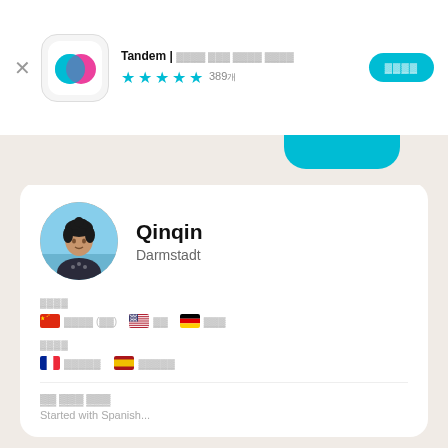Tandem | 전 세계 언어 교환 파트너 ★★★★½ 389개
Qinqin
Darmstadt
구사언어 🇨🇳 중국어 (간체) 🇺🇸 영어 🇩🇪 독일어
학습언어 🇫🇷 프랑스어 🇪🇸 스페인어
나의 자기 소개
Started with Spanish...